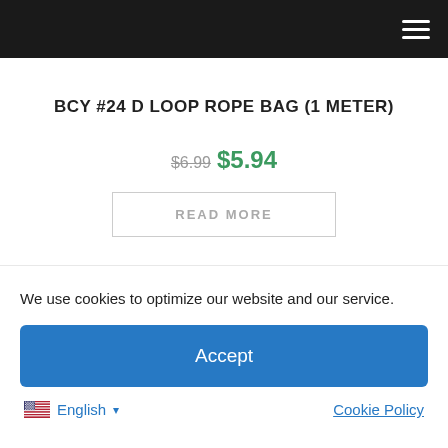Navigation menu
BCY #24 D LOOP ROPE BAG (1 METER)
$6.99 $5.94
READ MORE
We use cookies to optimize our website and our service.
Accept
English ▾
Cookie Policy